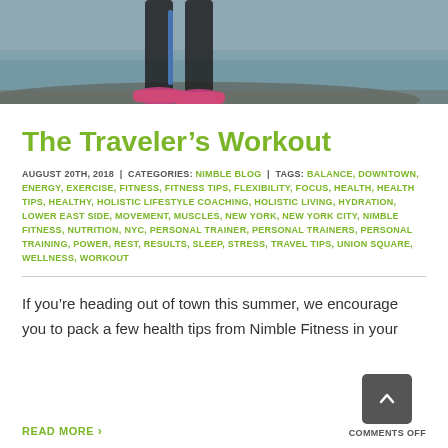[Figure (photo): Cropped photo showing legs and pink sneakers of a person standing outdoors near water]
The Traveler’s Workout
AUGUST 20TH, 2018 | CATEGORIES: NIMBLE BLOG | TAGS: BALANCE, DOWNTOWN, ENERGY, EXERCISE, FITNESS, FITNESS TIPS, FLEXIBILITY, FOCUS, HEALTH, HEALTH TIPS, HEALTHY, HOLISTIC LIFESTYLE COACHING, HOLISTIC LIVING, HYDRATION, LOWER EAST SIDE, MOVEMENT, MUSCLES, NEW YORK, NEW YORK CITY, NIMBLE FITNESS, NUTRITION, NYC, PERSONAL TRAINER, PERSONAL TRAINERS, PERSONAL TRAINING, POWER, REST, RESULTS, SLEEP, STRESS, TRAVEL TIPS, UNION SQUARE, WELLNESS, WORKOUT
If you’re heading out of town this summer, we encourage you to pack a few health tips from Nimble Fitness in your
READ MORE ›
COMMENTS OFF